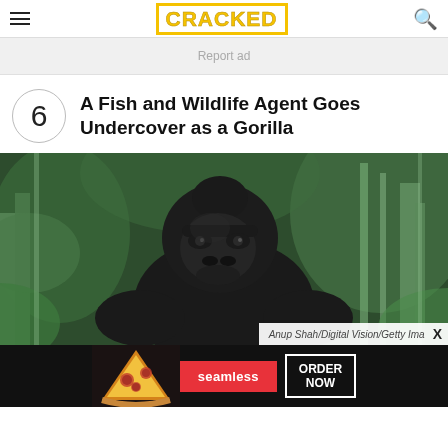CRACKED
Report ad
6 A Fish and Wildlife Agent Goes Undercover as a Gorilla
[Figure (photo): A large black gorilla (mountain gorilla/silverback) standing among green bamboo and foliage, photographed by Anup Shah/Digital Vision/Getty Images]
Anup Shah/Digital Vision/Getty Ima
[Figure (other): Seamless food delivery advertisement banner with pizza image on left, seamless logo in red center, and ORDER NOW button on right]